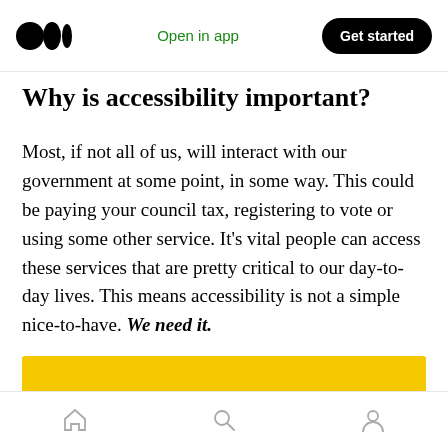Medium logo | Open in app | Get started
Why is accessibility important?
Most, if not all of us, will interact with our government at some point, in some way. This could be paying your council tax, registering to vote or using some other service. It’s vital people can access these services that are pretty critical to our day-to-day lives. This means accessibility is not a simple nice-to-have. We need it.
[Figure (photo): Yellow image block partially visible at the bottom of the article]
Home | Search | Profile icons